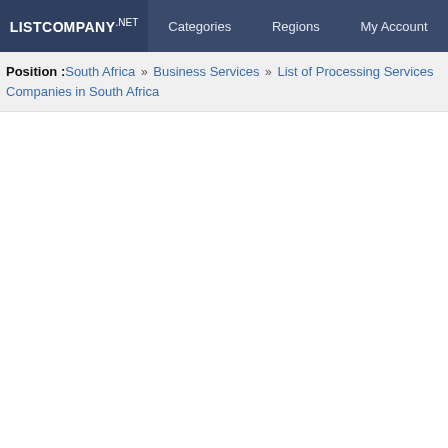LISTCOMPANY.NET | Categories | Regions | My Account
Position : South Africa » Business Services » List of Processing Services Companies in South Africa